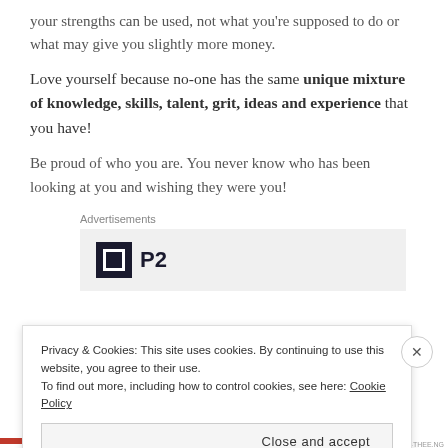your strengths can be used, not what you're supposed to do or what may give you slightly more money.
Love yourself because no-one has the same unique mixture of knowledge, skills, talent, grit, ideas and experience that you have!
Be proud of who you are. You never know who has been looking at you and wishing they were you!
Advertisements
[Figure (logo): P2 logo — black square icon with white inner square border, followed by bold text 'P2']
Privacy & Cookies: This site uses cookies. By continuing to use this website, you agree to their use. To find out more, including how to control cookies, see here: Cookie Policy
Close and accept
AIRPORT-THEE.NG